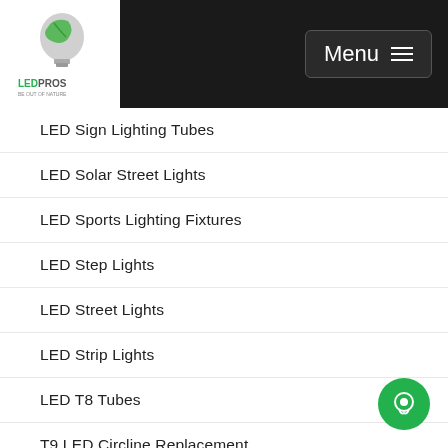LED PROS | Menu
LED Sign Lighting Tubes
LED Solar Street Lights
LED Sports Lighting Fixtures
LED Step Lights
LED Street Lights
LED Strip Lights
LED T8 Tubes
T9 LED Circline Replacement
LED Troffers
LED Tunnel Lights
LED U Bend Tubes
LED Vapor Tight Jelly Jars
LED Vapor Tight Linear Lighting
[Figure (illustration): Green circle chat button icon in bottom right corner]